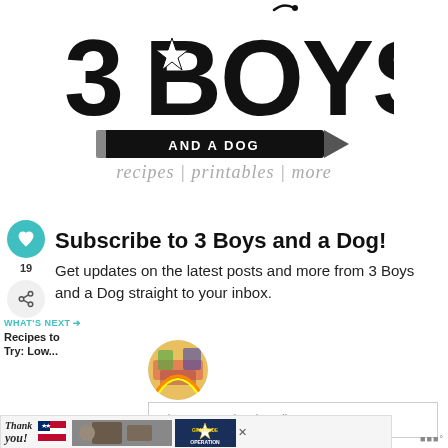[Figure (logo): 3 Boys and a Dog logo with pencil graphic and tagline 'recipes | printables | more']
Subscribe to 3 Boys and a Dog!
Get updates on the latest posts and more from 3 Boys and a Dog straight to your inbox.
First Name (optional)
[Figure (photo): Circular thumbnail image showing colorful food/party items]
WHAT'S NEXT → Recipes to Try: Low...
[Figure (infographic): Thank you Operation Gratitude advertisement banner with military imagery]